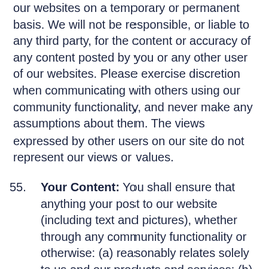our websites on a temporary or permanent basis. We will not be responsible, or liable to any third party, for the content or accuracy of any content posted by you or any other user of our websites. Please exercise discretion when communicating with others using our community functionality, and never make any assumptions about them. The views expressed by other users on our site do not represent our views or values.
55. Your Content: You shall ensure that anything your post to our website (including text and pictures), whether through any community functionality or otherwise: (a) reasonably relates solely to us and our products and services; (b) is in accordance with any rules or acceptable use policies we may publish from time to time; (c) is not posted in breach of any duty of confidentiality or in infringement of...